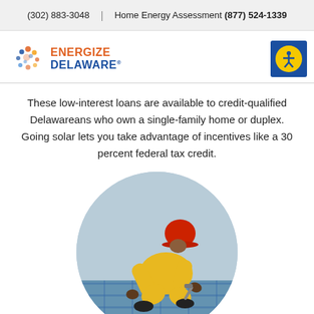(302) 883-3048  |  Home Energy Assessment (877) 524-1339
[Figure (logo): Energize Delaware logo with colorful dots and orange/blue text]
[Figure (illustration): Accessibility icon: person with arms out in yellow circle on dark blue background]
These low-interest loans are available to credit-qualified Delawareans who own a single-family home or duplex. Going solar lets you take advantage of incentives like a 30 percent federal tax credit.
[Figure (photo): Circular photo of a worker in yellow coveralls and orange hard hat installing solar panels on a roof]